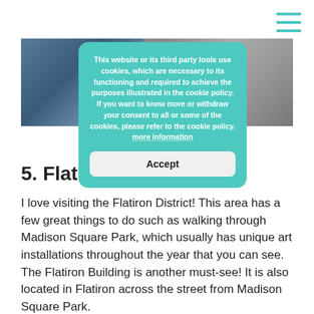[Figure (photo): Street scene photo strip showing people walking in an urban area, split into left and right sections with a teal/green overlay region in the center.]
Browsing the streets of the...
This website or its third party tools use cookies, which are necessary to its functioning and required to achieve the purposes illustrated in the cookie policy. If you want to know more or withdraw your consent to all or some of the cookies, please refer to the cookie policy. more information
Accept
5. Flatiron District
I love visiting the Flatiron District! This area has a few great things to do such as walking through Madison Square Park, which usually has unique art installations throughout the year that you can see. The Flatiron Building is another must-see! It is also located in Flatiron across the street from Madison Square Park.